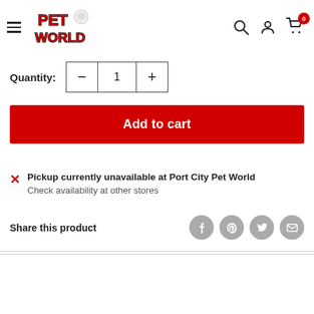Pet World – navigation header with hamburger menu, logo, search, account, cart (0)
Quantity: 1
Add to cart
Pickup currently unavailable at Port City Pet World
Check availability at other stores
Share this product